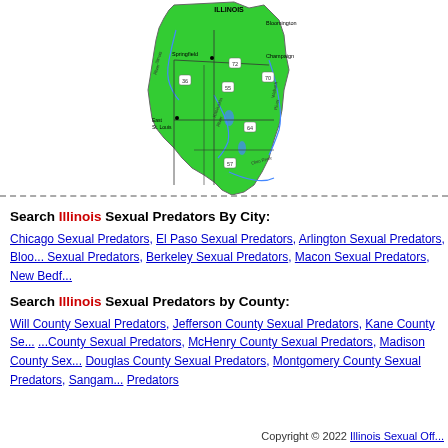[Figure (map): Green map of the state of Illinois showing major cities (Bloomington, Springfield, Champaign, East St. Louis), rivers (Illinois River, Kaskaskia River, Wabash River, Ohio River), and highway numbers (36, 72, 55, 70, 64, 57).]
Search Illinois Sexual Predators By City:
Chicago Sexual Predators, El Paso Sexual Predators, Arlington Sexual Predators, [more] Sexual Predators, Berkeley Sexual Predators, Macon Sexual Predators, New Bedford Sexual Predators
Search Illinois Sexual Predators by County:
Will County Sexual Predators, Jefferson County Sexual Predators, Kane County Sexual [Predators], [more] County Sexual Predators, McHenry County Sexual Predators, Madison County Sexual [Predators], Douglas County Sexual Predators, Montgomery County Sexual Predators, Sangam[on County Sexual] Predators
Copyright © 2022 Illinois Sexual Off[enders]